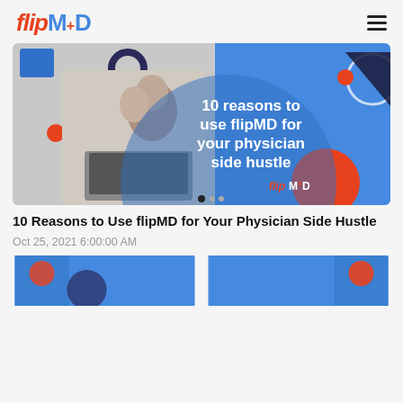flipMD
[Figure (illustration): FlipMD promotional banner showing a woman smiling at a laptop with a child hugging her from behind, blue background with geometric shapes, text: '10 reasons to use flipMD for your physician side hustle']
10 Reasons to Use flipMD for Your Physician Side Hustle
Oct 25, 2021 6:00:00 AM
[Figure (photo): Partial thumbnail image left side]
[Figure (photo): Partial thumbnail image right side]